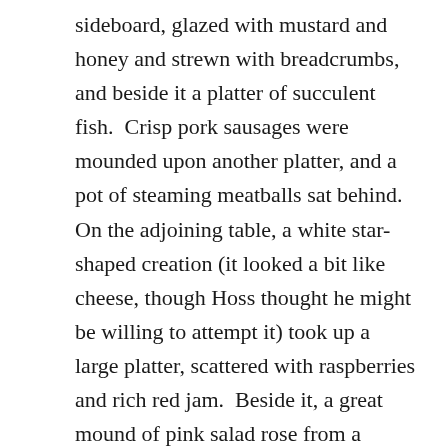sideboard, glazed with mustard and honey and strewn with breadcrumbs, and beside it a platter of succulent fish.  Crisp pork sausages were mounded upon another platter, and a pot of steaming meatballs sat behind.  On the adjoining table, a white star-shaped creation (it looked a bit like cheese, though Hoss thought he might be willing to attempt it) took up a large platter, scattered with raspberries and rich red jam.  Beside it, a great mound of pink salad rose from a crystal serving bowl, ringed with slices of boiled egg.  A skillet of creamy potatoes and onions sat still upon the stove, and a heap of mashed potatoes rose from a delicate china bowl.
Bread was heaped upon the center island—flat bread, cinnamon buns, rye loaves dusted white with flour, and golden yellow rolls glazed and stuffed with